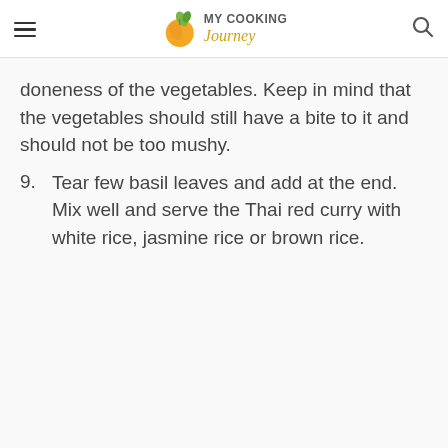MY COOKING Journey
doneness of the vegetables. Keep in mind that the vegetables should still have a bite to it and should not be too mushy.
9. Tear few basil leaves and add at the end. Mix well and serve the Thai red curry with white rice, jasmine rice or brown rice.